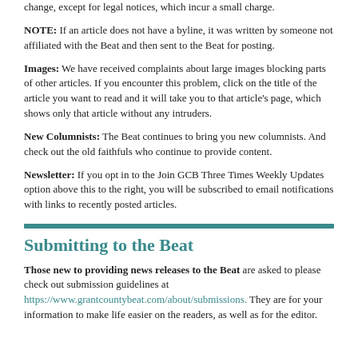change, except for legal notices, which incur a small charge.
NOTE: If an article does not have a byline, it was written by someone not affiliated with the Beat and then sent to the Beat for posting.
Images: We have received complaints about large images blocking parts of other articles. If you encounter this problem, click on the title of the article you want to read and it will take you to that article's page, which shows only that article without any intruders.
New Columnists: The Beat continues to bring you new columnists. And check out the old faithfuls who continue to provide content.
Newsletter: If you opt in to the Join GCB Three Times Weekly Updates option above this to the right, you will be subscribed to email notifications with links to recently posted articles.
Submitting to the Beat
Those new to providing news releases to the Beat are asked to please check out submission guidelines at https://www.grantcountybeat.com/about/submissions. They are for your information to make life easier on the readers, as well as for the editor.